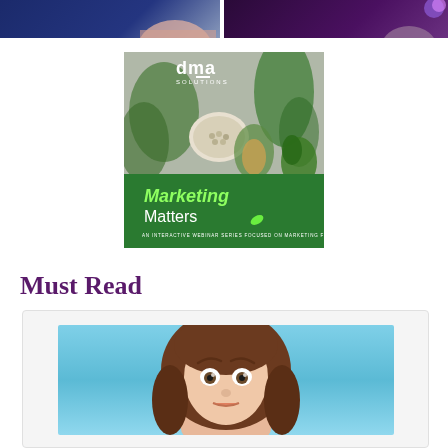[Figure (photo): Two promotional/thumbnail images side by side at the top: left shows a dark blue background with a partial person silhouette, right shows a dark purple background with a partial person figure.]
[Figure (photo): DMA Solutions 'Marketing Matters: An Interactive Webinar Series Focused on Marketing Fresh' promotional image with green leafy vegetables on gray background and green banner at bottom with white text.]
Must Read
[Figure (photo): A card/article preview with a photo of a young woman with brown hair and wide eyes, looking surprised, against a light blue background.]